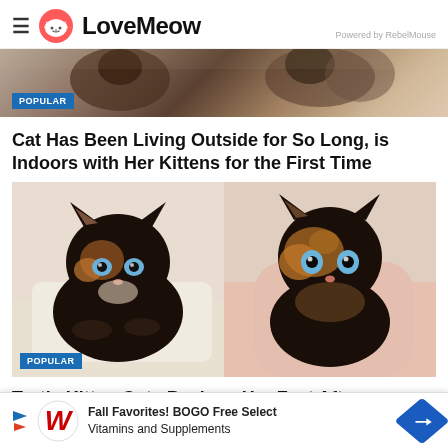LoveMeow — Powered by RebelMouse
[Figure (photo): Partial top image strip showing cats/kittens with POPULAR badge]
Cat Has Been Living Outside for So Long, is Indoors with Her Kittens for the First Time
[Figure (photo): Two tortoiseshell kittens side by side, with blue eyes, one in a basket and one being held. POPULAR badge visible.]
Tortie Kitten Gets Back on Her Feet After a Rough Start
Fall Favorites! BOGO Free Select Vitamins and Supplements